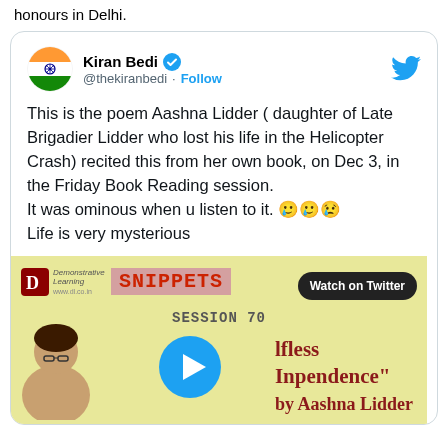honours in Delhi.
[Figure (screenshot): Tweet by Kiran Bedi (@thekiranbedi) with verified badge and Follow button. Tweet text: This is the poem Aashna Lidder ( daughter of Late Brigadier Lidder who lost his life in the Helicopter Crash) recited this from her own book, on Dec 3, in the Friday Book Reading session. It was ominous when u listen to it. 🥲🥲😢 Life is very mysterious. Embedded video thumbnail showing 'SNIPPETS SESSION 70 - Selfless Independence by Aashna Lidder' with a Watch on Twitter button.]